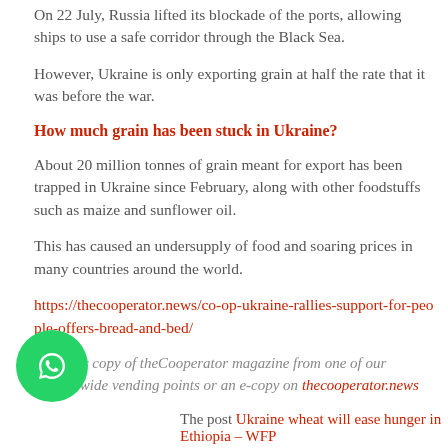On 22 July, Russia lifted its blockade of the ports, allowing ships to use a safe corridor through the Black Sea.
However, Ukraine is only exporting grain at half the rate that it was before the war.
How much grain has been stuck in Ukraine?
About 20 million tonnes of grain meant for export has been trapped in Ukraine since February, along with other foodstuffs such as maize and sunflower oil.
This has caused an undersupply of food and soaring prices in many countries around the world.
https://thecooperator.news/co-op-ukraine-rallies-support-for-people-offers-bread-and-bed/
Buy your copy of theCooperator magazine from one of our countrywide vending points or an e-copy on thecooperator.news
The post Ukraine wheat will ease hunger in Ethiopia – WFP